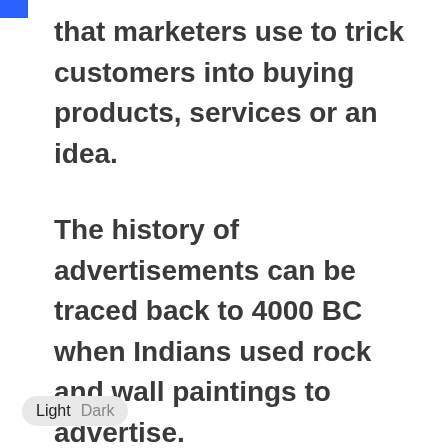that marketers use to trick customers into buying products, services or an idea.
The history of advertisements can be traced back to 4000 BC when Indians used rock and wall paintings to advertise.